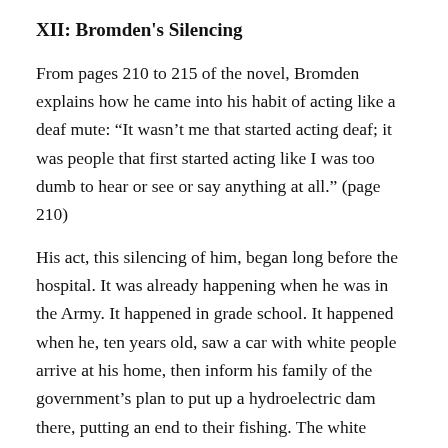XII: Bromden's Silencing
From pages 210 to 215 of the novel, Bromden explains how he came into his habit of acting like a deaf mute: “It wasn’t me that started acting deaf; it was people that first started acting like I was too dumb to hear or see or say anything at all.” (page 210)
His act, this silencing of him, began long before the hospital. It was already happening when he was in the Army. It happened in grade school. It happened when he, ten years old, saw a car with white people arrive at his home, then inform his family of the government’s plan to put up a hydroelectric dam there, putting an end to their fishing. The white people would force it on the aboriginals one way or another. The Combine would